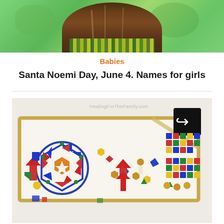[Figure (photo): Top photo showing child with long brown/dark hair wearing striped colorful clothing, green background]
Babies
Santa Noemi Day, June 4. Names for girls
[Figure (photo): Photo of a craft/activity board with colorful geometric pattern blocks arranged to spell or create designs, including a decorative mandala circle on the left and letters spelled out with colorful pieces on the right. Watermark reads HealingForTheFamily.com]